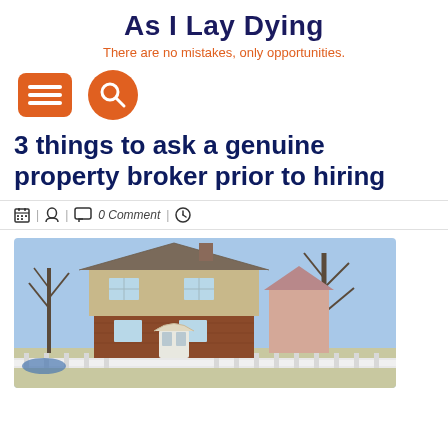As I Lay Dying
There are no mistakes, only opportunities.
[Figure (infographic): Orange menu button (hamburger icon) and orange circular search button (magnifying glass icon)]
3 things to ask a genuine property broker prior to hiring
📅 | 👤 | 💬 0 Comment | 🕐
[Figure (photo): Photograph of a residential house with brick and siding exterior, gabled roof, white fence, bare trees in background, blue sky]